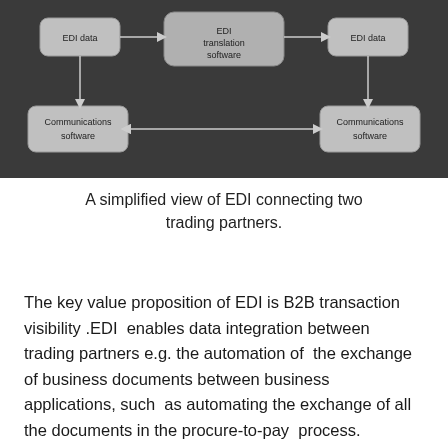[Figure (flowchart): A simplified EDI network diagram showing EDI data boxes, communications software boxes, and an EDI translation software box in the center, connected by arrows, representing two trading partners communicating via EDI.]
A simplified view of EDI connecting two trading partners.
The key value proposition of EDI is B2B transaction visibility .EDI  enables data integration between trading partners e.g. the automation of  the exchange of business documents between business applications, such  as automating the exchange of all the documents in the procure-to-pay  process.
By enabling data sharing among trading partners in a B2B  transaction, EDI allows businesses to coordinate. It helps eliminate  manual paper processes and leads to significant and persistent broad